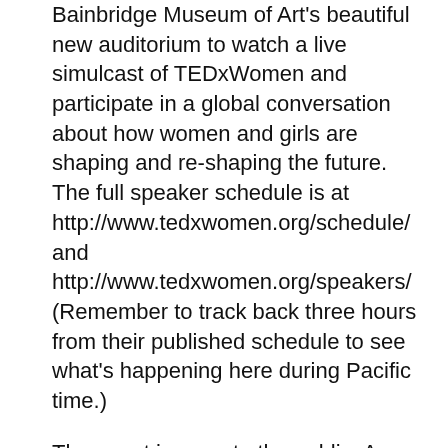Bainbridge Museum of Art's beautiful new auditorium to watch a live simulcast of TEDxWomen and participate in a global conversation about how women and girls are shaping and re-shaping the future. The full speaker schedule is at http://www.tedxwomen.org/schedule/ and http://www.tedxwomen.org/speakers/ (Remember to track back three hours from their published schedule to see what's happening here during Pacific time.)
The event is open to the public. A limited number of seats are available. (The auditorium holds 70 very comfortably.) There are no pre-sales but if you would like to reserve a seat, please contact the organizer via email, laurel(at)arcstudio.com, with TEDxElliottBay in the subject line. We will do our